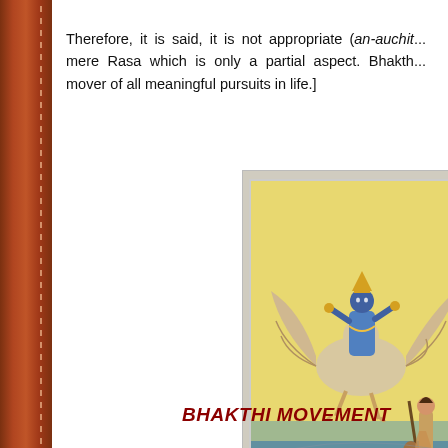Therefore, it is said, it is not appropriate (an-auchit...) mere Rasa which is only a partial aspect. Bhakthi... mover of all meaningful pursuits in life.]
[Figure (illustration): Traditional Indian painting showing Vishnu seated on Garuda (eagle mount) flying over water, with a devotee standing on the shore holding a staff]
BHAKTHI MOVEMENT